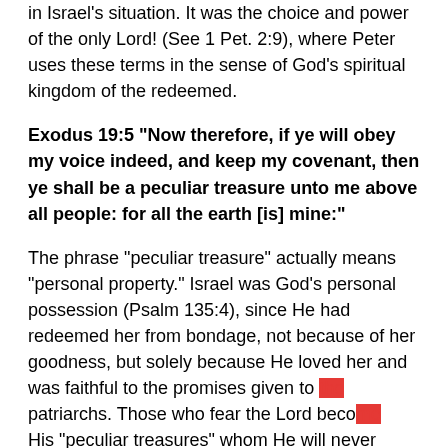in Israel's situation. It was the choice and power of the only Lord! (See 1 Pet. 2:9), where Peter uses these terms in the sense of God's spiritual kingdom of the redeemed.
Exodus 19:5 “Now therefore, if ye will obey my voice indeed, and keep my covenant, then ye shall be a peculiar treasure unto me above all people: for all the earth [is] mine:”
The phrase “peculiar treasure” actually means “personal property.” Israel was God’s personal possession (Psalm 135:4), since He had redeemed her from bondage, not because of her goodness, but solely because He loved her and was faithful to the promises given to the patriarchs. Those who fear the Lord become His “peculiar treasures” whom He will never